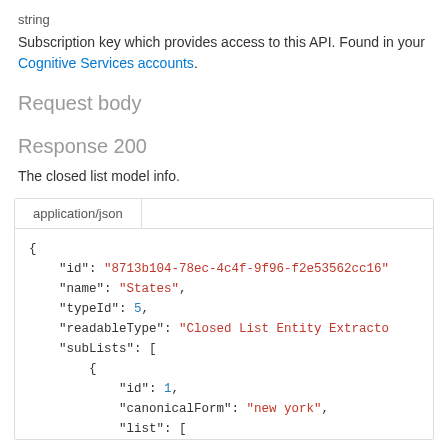string
Subscription key which provides access to this API. Found in your Cognitive Services accounts.
Request body
Response 200
The closed list model info.
application/json
{
    "id": "8713b104-78ec-4c4f-9f96-f2e53562cc16",
    "name": "States",
    "typeId": 5,
    "readableType": "Closed List Entity Extracto",
    "subLists": [
        {
            "id": 1,
            "canonicalForm": "new york",
            "list": [